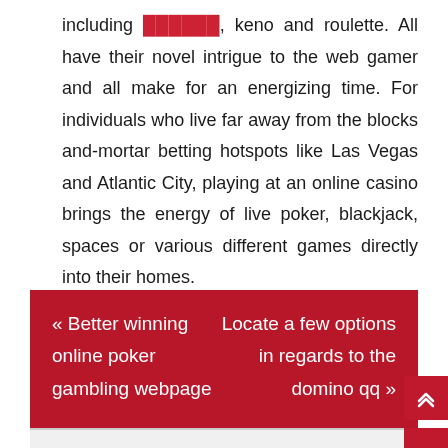including ██████, keno and roulette. All have their novel intrigue to the web gamer and all make for an energizing time. For individuals who live far away from the blocks and-mortar betting hotspots like Las Vegas and Atlantic City, playing at an online casino brings the energy of live poker, blackjack, spaces or various different games directly into their homes.
« Better winning online poker gambling webpage   Locate a few options in regards to the domino qq »